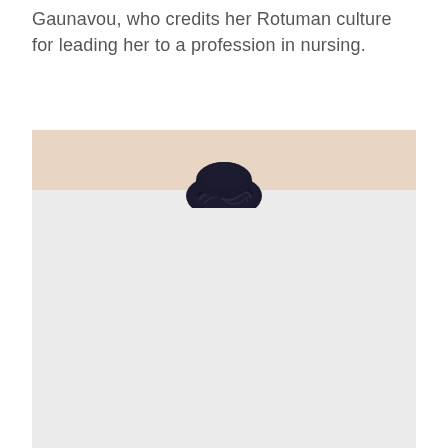Gaunavou, who credits her Rotuman culture for leading her to a profession in nursing.
[Figure (photo): Partial portrait photo of a person with dark braided hair, visible only from the top of the head. The upper portion of the image has a warm beige/peach background and the lower portion has a light grey background, with only the top of the subject's dark braided hair visible at the boundary.]